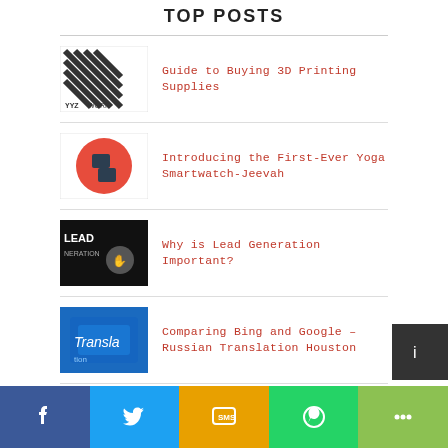TOP POSTS
Guide to Buying 3D Printing Supplies
Introducing the First-Ever Yoga Smartwatch-Jeevah
Why is Lead Generation Important?
Comparing Bing and Google – Russian Translation Houston
How to Assemble a Social Media Report?
[Figure (infographic): Social sharing bar with Facebook, Twitter, SMS, WhatsApp, and more buttons]